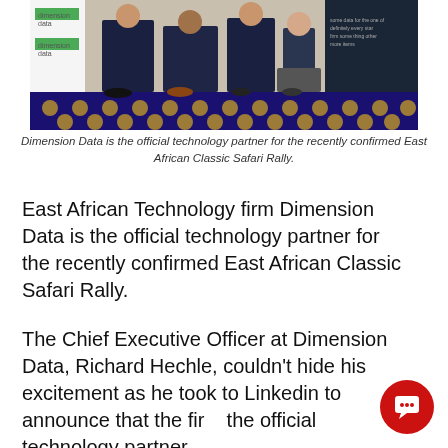[Figure (photo): Group of four people standing in front of Dimension Data branded banners at an event, with decorative carpet in the foreground.]
Dimension Data is the official technology partner for the recently confirmed East African Classic Safari Rally.
East African Technology firm Dimension Data is the official technology partner for the recently confirmed East African Classic Safari Rally.
The Chief Executive Officer at Dimension Data, Richard Hechle, couldn't hide his excitement as he took to Linkedin to announce that the firm the official technology partner.